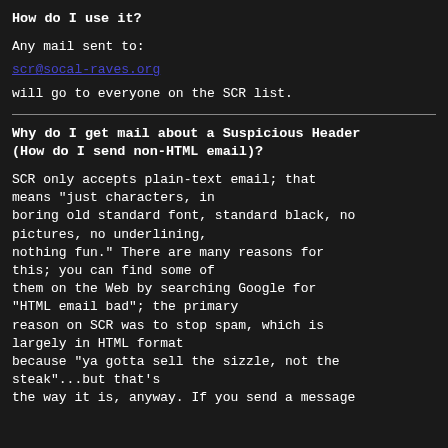How do I use it?
Any mail sent to:
scr@socal-raves.org
will go to everyone on the SCR list.
Why do I get mail about a Suspicious Header (How do I send non-HTML email)?
SCR only accepts plain-text email; that means "just characters, in boring old standard font, standard black, no pictures, no underlining, nothing fun." There are many reasons for this; you can find some of them on the Web by searching Google for "HTML email bad"; the primary reason on SCR was to stop spam, which is largely in HTML format because "ya gotta sell the sizzle, not the steak"...but that's the way it is, anyway. If you send a message